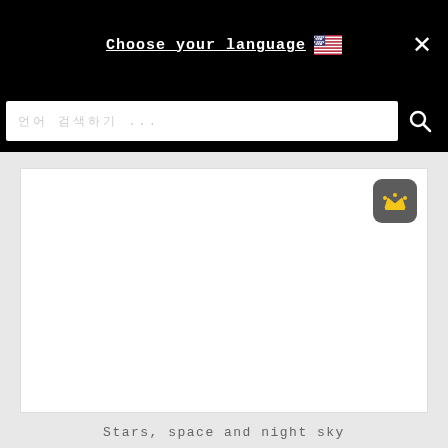Choose your language 🇺🇸
언어 선택하기 ...
[Figure (screenshot): Empty white content area with a dark gray rounded square badge containing a yellow crown icon in the top-right corner]
Stars, space and night sky